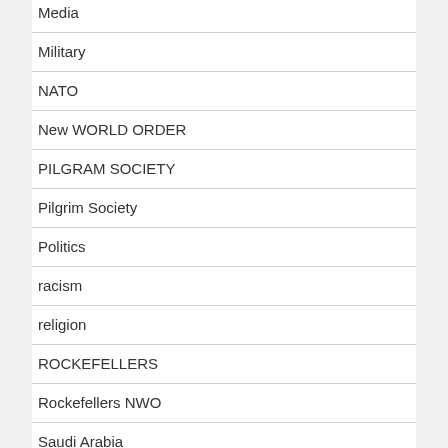Media
Military
NATO
New WORLD ORDER
PILGRAM SOCIETY
Pilgrim Society
Politics
racism
religion
ROCKEFELLERS
Rockefellers NWO
Saudi Arabia